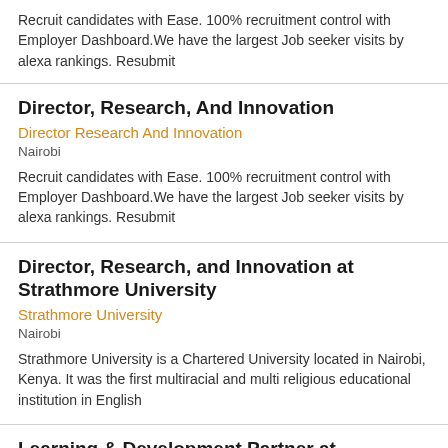Recruit candidates with Ease. 100% recruitment control with Employer Dashboard.We have the largest Job seeker visits by alexa rankings. Resubmit
Director, Research, And Innovation
Director Research And Innovation
Nairobi
Recruit candidates with Ease. 100% recruitment control with Employer Dashboard.We have the largest Job seeker visits by alexa rankings. Resubmit
Director, Research, and Innovation at Strathmore University
Strathmore University
Nairobi
Strathmore University is a Chartered University located in Nairobi, Kenya. It was the first multiracial and multi religious educational institution in English
Learning & Development Partner at Strathmore University
Strathmore University
Nairobi
Strathmore University is a Chartered University located in Nairobi, Kenya. It was the first multiracial and multi religious educational institution in English